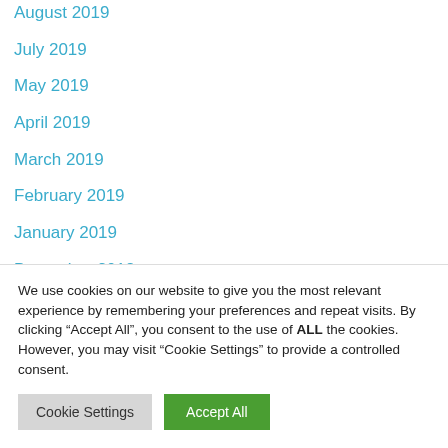August 2019
July 2019
May 2019
April 2019
March 2019
February 2019
January 2019
December 2018
November 2018
We use cookies on our website to give you the most relevant experience by remembering your preferences and repeat visits. By clicking “Accept All”, you consent to the use of ALL the cookies. However, you may visit “Cookie Settings” to provide a controlled consent.
Cookie Settings | Accept All